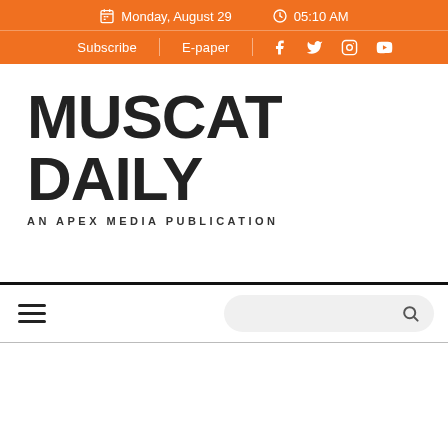Monday, August 29  05:10 AM
Subscribe  E-paper  Facebook  Twitter  Instagram  YouTube
MUSCAT DAILY
AN APEX MEDIA PUBLICATION
Menu  Search